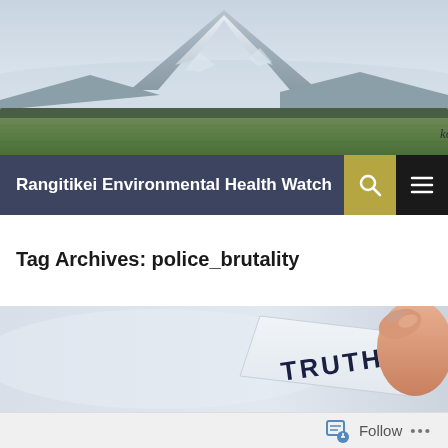[Figure (photo): Mountain landscape with green fields in foreground, large snow-capped mountain in background, cursive text reading 'ko Ruapehu te maunga' overlaid at lower right]
Rangitikei Environmental Health Watch
Tag Archives: police_brutality
[Figure (photo): Hand holding a small piece of paper with 'TRUTH' written on it in dark ink, light grey/blue background]
Follow ...